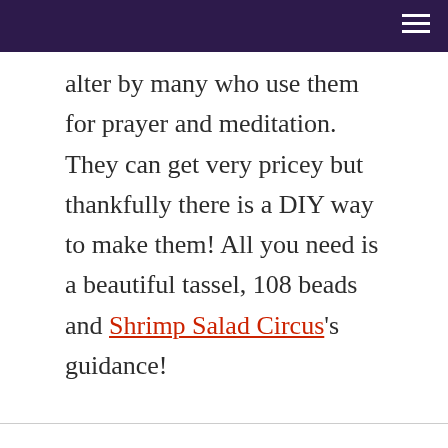alter by many who use them for prayer and meditation. They can get very pricey but thankfully there is a DIY way to make them!  All you need is a beautiful tassel, 108 beads and Shrimp Salad Circus's guidance!